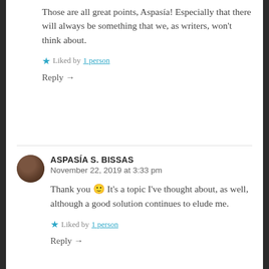Those are all great points, Aspasía! Especially that there will always be something that we, as writers, won't think about.
★ Liked by 1 person
Reply →
ASPASÍA S. BISSAS
November 22, 2019 at 3:33 pm
Thank you 🙂 It's a topic I've thought about, as well, although a good solution continues to elude me.
★ Liked by 1 person
Reply →